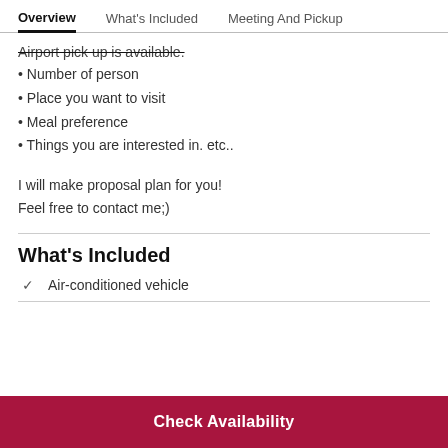Overview  What's Included  Meeting And Pickup
Airport pick up is available.
Number of person
Place you want to visit
Meal preference
Things you are interested in. etc..
I will make proposal plan for you!
Feel free to contact me;)
What's Included
Air-conditioned vehicle
Check Availability